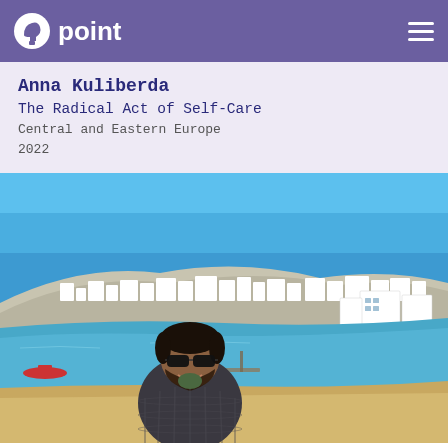point
Anna Kuliberda
The Radical Act of Self-Care
Central and Eastern Europe
2022
[Figure (photo): A man with sunglasses and a dark puffer jacket smiling at the camera, standing on a beach with a Greek island town (white buildings on a hillside) and blue sea in the background.]